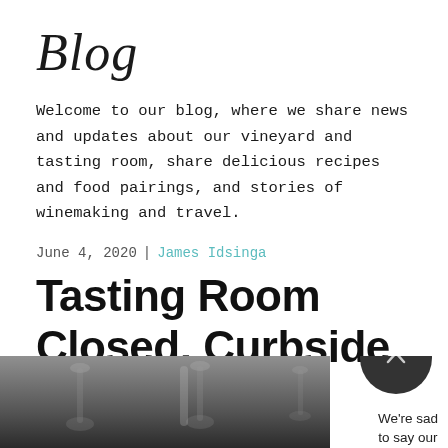Blog
Welcome to our blog, where we share news and updates about our vineyard and tasting room, share delicious recipes and food pairings, and stories of winemaking and travel.
June 4, 2020 | James Idsinga
Tasting Room Closed, Curbside Service Continues!
[Figure (photo): Dark monochrome photo showing hanging wine glasses or chandelier elements from above]
We're sad to say our